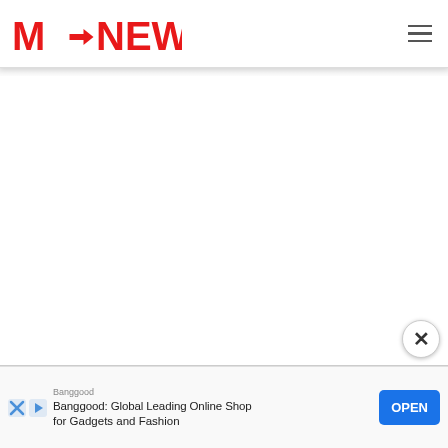M-News logo and navigation header
[Figure (screenshot): Blank white content area below the header]
Banggood: Global Leading Online Shop for Gadgets and Fashion
OPEN